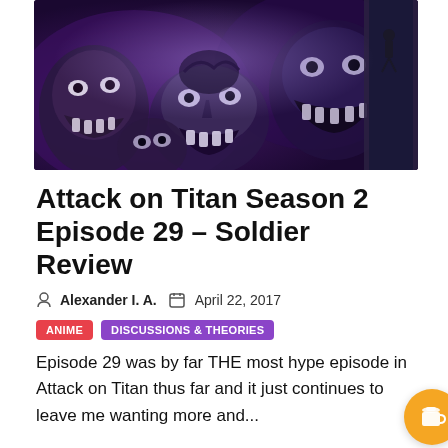[Figure (illustration): Dark anime illustration showing multiple titan faces with glowing eyes against a dark purple background, with a small soldier figure in the corner]
Attack on Titan Season 2 Episode 29 – Soldier Review
Alexander I. A.   April 22, 2017
ANIME   DISCUSSIONS & THEORIES
Episode 29 was by far THE most hype episode in Attack on Titan thus far and it just continues to leave me wanting more and...
[Figure (illustration): Dark anime scene partial view at bottom of page]